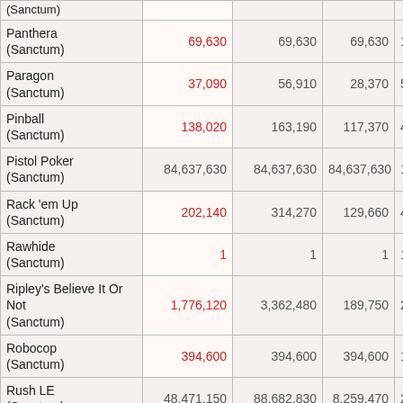| Game | Score (Red=Personal Best) | High Score | Low Score | Count |
| --- | --- | --- | --- | --- |
| (Sanctum) |  |  |  |  |
| Panthera (Sanctum) | 69,630 | 69,630 | 69,630 | 1 |
| Paragon (Sanctum) | 37,090 | 56,910 | 28,370 | 5 |
| Pinball (Sanctum) | 138,020 | 163,190 | 117,370 | 4 |
| Pistol Poker (Sanctum) | 84,637,630 | 84,637,630 | 84,637,630 | 1 |
| Rack 'em Up (Sanctum) | 202,140 | 314,270 | 129,660 | 4 |
| Rawhide (Sanctum) | 1 | 1 | 1 | 1 |
| Ripley's Believe It Or Not (Sanctum) | 1,776,120 | 3,362,480 | 189,750 | 2 |
| Robocop (Sanctum) | 394,600 | 394,600 | 394,600 | 1 |
| Rush LE (Sanctum) | 48,471,150 | 88,682,830 | 8,259,470 | 2 |
| Seawitch (Sanctum) | 45,200 | 45,200 | 45,200 | 1 |
| Shadow (Sanctum) | 91,233,470 | 177,668,000 | 43,900,880 | 3 |
| Sorcerer (Sanctum) | 60,940 | 78,370 | 43,510 | 2 |